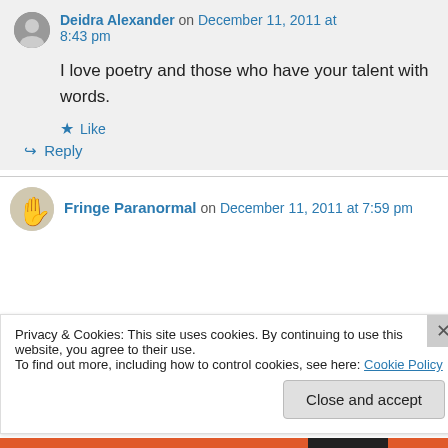Deidra Alexander on December 11, 2011 at 8:43 pm
I love poetry and those who have your talent with words.
Like
Reply
Fringe Paranormal on December 11, 2011 at 7:59 pm
Privacy & Cookies: This site uses cookies. By continuing to use this website, you agree to their use.
To find out more, including how to control cookies, see here: Cookie Policy
Close and accept